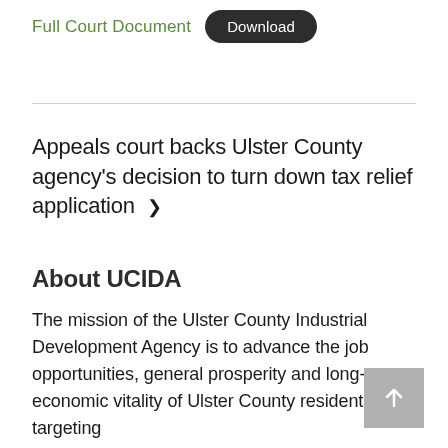Full Court Document  Download
Appeals court backs Ulster County agency's decision to turn down tax relief application ▶
About UCIDA
The mission of the Ulster County Industrial Development Agency is to advance the job opportunities, general prosperity and long-term economic vitality of Ulster County residents by targeting